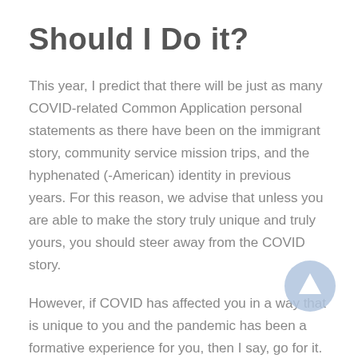Should I Do it?
This year, I predict that there will be just as many COVID-related Common Application personal statements as there have been on the immigrant story, community service mission trips, and the hyphenated (-American) identity in previous years. For this reason, we advise that unless you are able to make the story truly unique and truly yours, you should steer away from the COVID story.
However, if COVID has affected you in a way that is unique to you and the pandemic has been a formative experience for you, then I say, go for it.
Below are some angles you may want to take to the COVID story that will make your essay about you, and not about